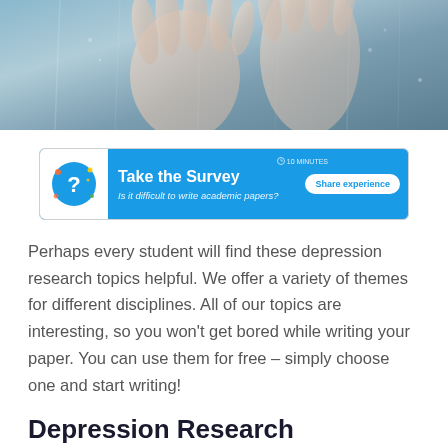[Figure (photo): Close-up photo of hands pressed against a wet surface, shot in cool blue-grey tones suggesting distress or isolation]
[Figure (infographic): Survey banner ad with blue background. Text: 'Take the Survey' — Is it difficult to write academic papers? Share experience button. Clock icon showing 10 MINUTES.]
Perhaps every student will find these depression research topics helpful. We offer a variety of themes for different disciplines. All of our topics are interesting, so you won't get bored while writing your paper. You can use them for free – simply choose one and start writing!
Depression Research Topics for Sociology